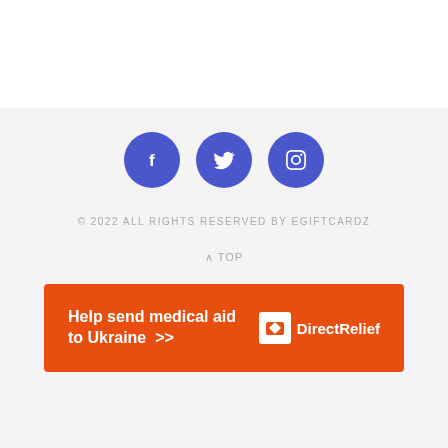[Figure (illustration): Three social media icon circles (Facebook, Twitter, Pinterest) in blue/indigo color on a light gray background]
© 2022 ALL RIGHTS RESERVED BY EGIFTCARDZ
^ TOP
[Figure (infographic): Orange advertisement banner reading 'Help send medical aid to Ukraine >>' with Direct Relief logo on the right]